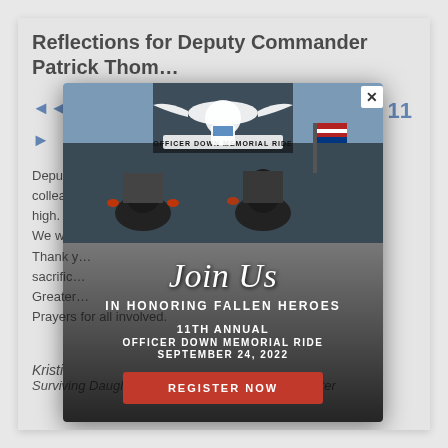Reflections for Deputy Commander Patrick Thom…
Deputy… May your… forever… and colleagues… on high.
We will…
Thank y… sacrifice…
Greater… Prayers for all involved.
[Figure (infographic): Officer Down Memorial Ride popup modal with eagle logo, 'Join Us IN HONORING FALLEN HEROES', '11TH ANNUAL OFFICER DOWN MEMORIAL RIDE SEPTEMBER 24, 2022', and 'REGISTER NOW' button over a motorcycle photo background]
Kristi
Surviving Daughter of Special Agent J. Robert Porter